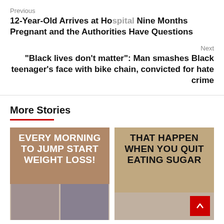Previous
12-Year-Old Arrives at Hospital Nine Months Pregnant and the Authorities Have Questions
Next
“Black lives don’t matter”: Man smashes Black teenager’s face with bike chain, convicted for hate crime
More Stories
[Figure (photo): Image with bold white text on brown background reading EVERY MORNING TO JUMP START WEIGHT LOSS! with before/after photos of a woman below]
[Figure (photo): Image with bold black text on tan/brown background reading THAT HAPPEN WHEN YOU QUIT EATING SUGAR with a woman's photo below]